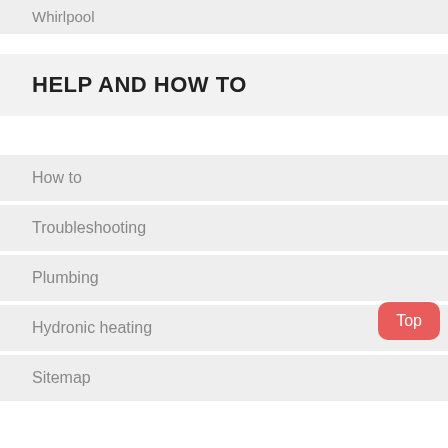Whirlpool
HELP AND HOW TO
How to
Troubleshooting
Plumbing
Hydronic heating
Sitemap